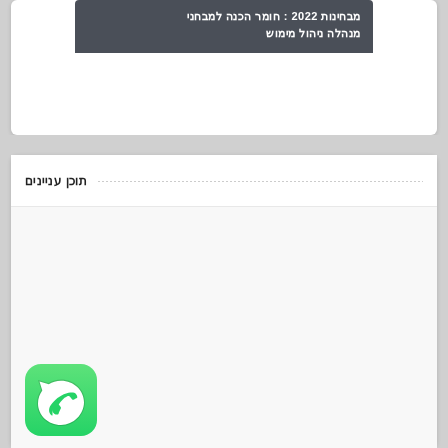מבחינות 2022 : חומר הכנה למבחני מנהלה ניהול מימוש
תוכן עניינים
[Figure (logo): WhatsApp application icon - green rounded square with white phone handset inside speech bubble]